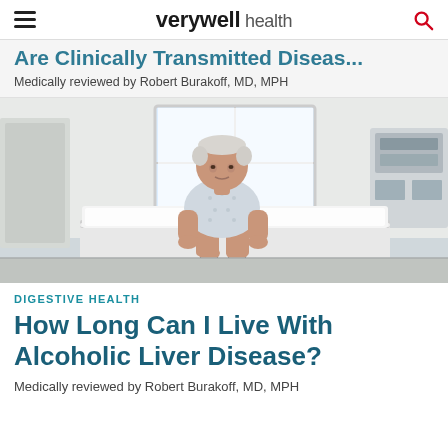verywell health
... Clinically Transmitted Disease?
Medically reviewed by Robert Burakoff, MD, MPH
[Figure (photo): An elderly man in a hospital gown sitting on an examination table in a clinical room with a window in the background.]
DIGESTIVE HEALTH
How Long Can I Live With Alcoholic Liver Disease?
Medically reviewed by Robert Burakoff, MD, MPH